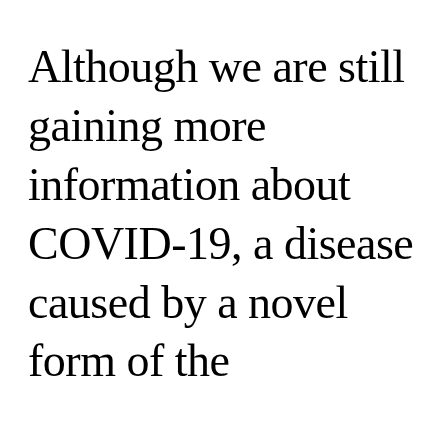Although we are still gaining more information about COVID-19, a disease caused by a novel form of the